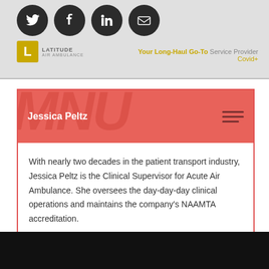[Figure (screenshot): Website header with social media icons (Twitter, Facebook, LinkedIn, Email), Latitude Air Ambulance logo, tagline 'Your Long-Haul Go-To Service Provider Covid+']
Jessica Peltz
With nearly two decades in the patient transport industry, Jessica Peltz is the Clinical Supervisor for Acute Air Ambulance. She oversees the day-day-day clinical operations and maintains the company's NAAMTA accreditation.